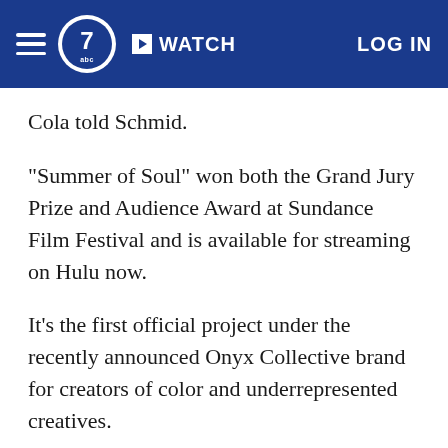☰ abc7 ▶ WATCH LOG IN
Cola told Schmid.
"Summer of Soul" won both the Grand Jury Prize and Audience Award at Sundance Film Festival and is available for streaming on Hulu now.
It's the first official project under the recently announced Onyx Collective brand for creators of color and underrepresented creatives.